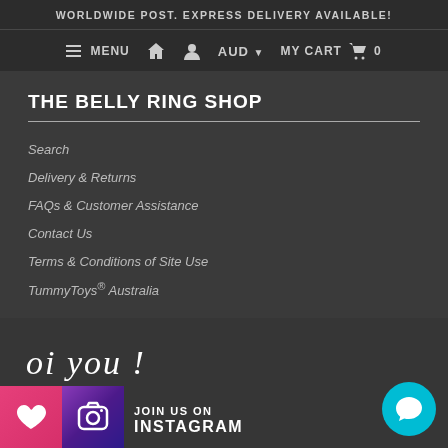WORLDWIDE POST. EXPRESS DELIVERY AVAILABLE!
MENU  AUD  MY CART  0
THE BELLY RING SHOP
Search
Delivery & Returns
FAQs & Customer Assistance
Contact Us
Terms & Conditions of Site Use
TummyToys® Australia
[Figure (illustration): Script text reading 'oi you !' with join us on instagram banner featuring Instagram logo and heart icon, plus a teal chat bubble icon in bottom right]
JOIN US ON INSTAGRAM